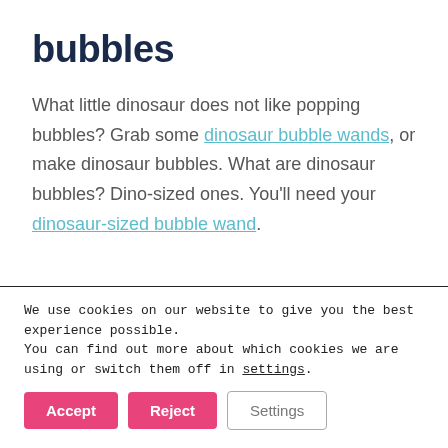bubbles
What little dinosaur does not like popping bubbles? Grab some dinosaur bubble wands, or make dinosaur bubbles. What are dinosaur bubbles? Dino-sized ones. You'll need your dinosaur-sized bubble wand.
[Figure (other): Partial image visible at bottom of main content area, appears to be a light blue/purple gradient banner or photo]
We use cookies on our website to give you the best experience possible.
You can find out more about which cookies we are using or switch them off in settings.